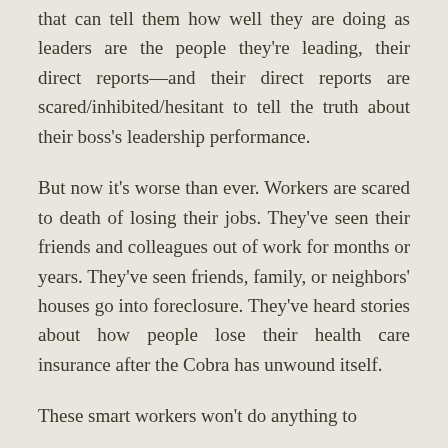that can tell them how well they are doing as leaders are the people they're leading, their direct reports—and their direct reports are scared/inhibited/hesitant to tell the truth about their boss's leadership performance.
But now it's worse than ever. Workers are scared to death of losing their jobs. They've seen their friends and colleagues out of work for months or years. They've seen friends, family, or neighbors' houses go into foreclosure. They've heard stories about how people lose their health care insurance after the Cobra has unwound itself.
These smart workers won't do anything to